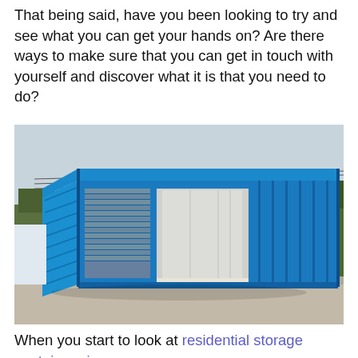That being said, have you been looking to try and see what you can get your hands on? Are there ways to make sure that you can get in touch with yourself and discover what it is that you need to do?
[Figure (photo): A large blue shipping container modified for storage, with two roll-up doors open on the front side, showing white interior walls. The container is parked on a concrete surface outdoors with trees and utility poles visible in the background.]
When you start to look at residential storage containers in